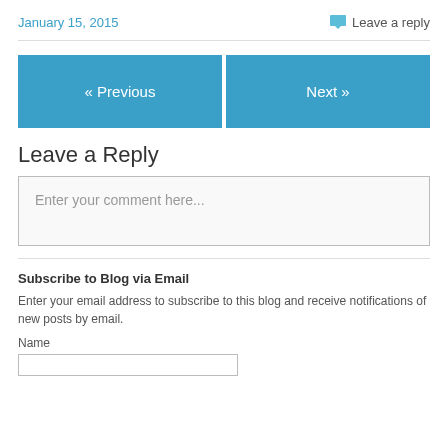January 15, 2015
Leave a reply
« Previous
Next »
Leave a Reply
Enter your comment here...
Subscribe to Blog via Email
Enter your email address to subscribe to this blog and receive notifications of new posts by email.
Name